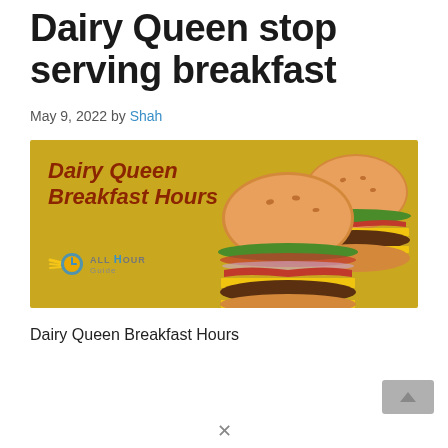Dairy Queen stop serving breakfast
May 9, 2022 by Shah
[Figure (illustration): Dairy Queen Breakfast Hours promotional image with yellow/gold background, two stacked burgers on the right, italic bold dark red text reading 'Dairy Queen Breakfast Hours', and an All Hour Guide logo in the lower left.]
Dairy Queen Breakfast Hours